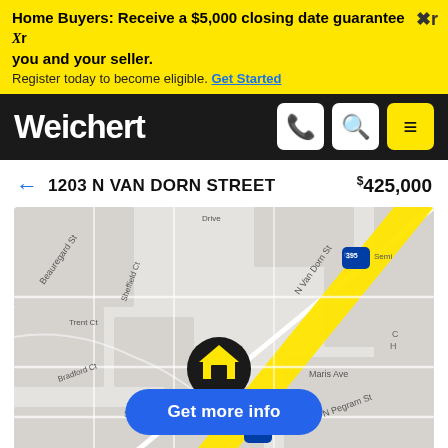Home Buyers: Receive a $5,000 closing date guarantee Xr you and your seller. Register today to become eligible. Get Started
Weichert
← 1203 N VAN DORN STREET  $425,000
[Figure (map): Street map showing 1203 N Van Dorn Street area in Alexandria, VA. Shows intersection of N Van Dorn St and Interstate 395. Streets labeled include Beauregard St, Sheffield Ct, Trent Ct, Bradford Ct, Sanger Ave, Maris Ave, N Pegram St. A house map pin marker is shown on the property location. A blue 'Get more info' button overlays the bottom center of the map.]